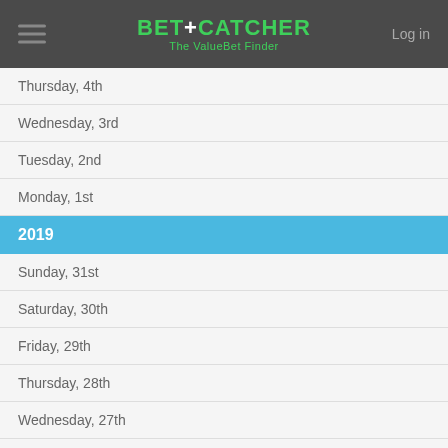BET+CATCHER The ValueBet Finder
Thursday, 4th
Wednesday, 3rd
Tuesday, 2nd
Monday, 1st
2019
Sunday, 31st
Saturday, 30th
Friday, 29th
Thursday, 28th
Wednesday, 27th
Tuesday, 26th
Monday, 25th
Sunday, 24th